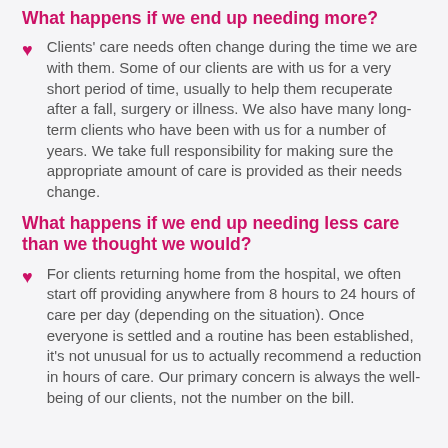What happens if we end up needing more?
Clients' care needs often change during the time we are with them. Some of our clients are with us for a very short period of time, usually to help them recuperate after a fall, surgery or illness. We also have many long-term clients who have been with us for a number of years. We take full responsibility for making sure the appropriate amount of care is provided as their needs change.
What happens if we end up needing less care than we thought we would?
For clients returning home from the hospital, we often start off providing anywhere from 8 hours to 24 hours of care per day (depending on the situation). Once everyone is settled and a routine has been established, it's not unusual for us to actually recommend a reduction in hours of care. Our primary concern is always the well-being of our clients, not the number on the bill.